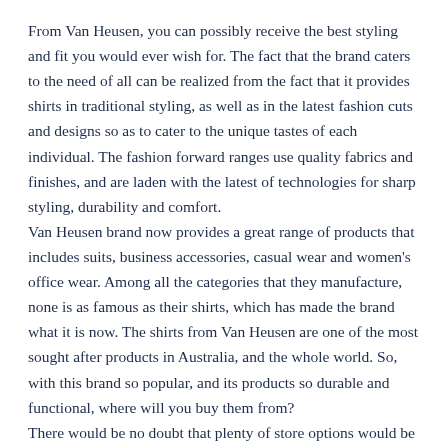From Van Heusen, you can possibly receive the best styling and fit you would ever wish for. The fact that the brand caters to the need of all can be realized from the fact that it provides shirts in traditional styling, as well as in the latest fashion cuts and designs so as to cater to the unique tastes of each individual. The fashion forward ranges use quality fabrics and finishes, and are laden with the latest of technologies for sharp styling, durability and comfort.
Van Heusen brand now provides a great range of products that includes suits, business accessories, casual wear and women's office wear. Among all the categories that they manufacture, none is as famous as their shirts, which has made the brand what it is now. The shirts from Van Heusen are one of the most sought after products in Australia, and the whole world. So, with this brand so popular, and its products so durable and functional, where will you buy them from?
There would be no doubt that plenty of store options would be available to purchase quality Van Heusen shirts. The only thing is that in order to acquire quality, you would have to pay big, but